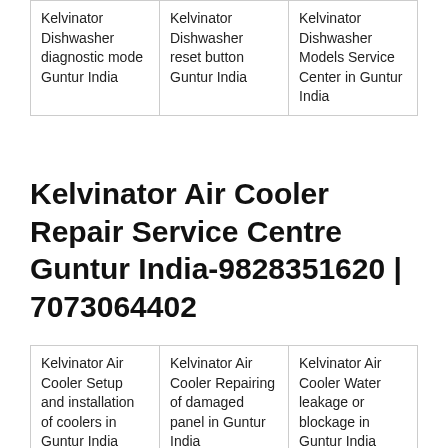| Kelvinator Dishwasher diagnostic mode Guntur India | Kelvinator Dishwasher reset button Guntur India | Kelvinator Dishwasher Models Service Center in Guntur India |
Kelvinator Air Cooler Repair Service Centre Guntur India-9828351620 | 7073064402
| Kelvinator Air Cooler Setup and installation of coolers in Guntur India | Kelvinator Air Cooler Repairing of damaged panel in Guntur India | Kelvinator Air Cooler Water leakage or blockage in Guntur India |
| Kelvinator Air Cooler Any capacitor or motor damage in Guntur India | Kelvinator Air Cooler Setup and installation of coolers in Guntur India | Kelvinator Air Cooler Installation and Setup in Guntur India |